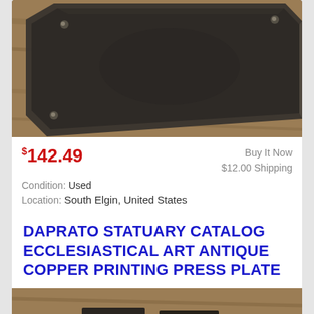[Figure (photo): A dark metal printing press plate on a wooden surface, photographed at an angle showing its rectangular form and aged texture.]
$142.49
Buy It Now
$12.00 Shipping
Condition: Used
Location: South Elgin, United States
These printing press plates are in great condition and have aged nicely. The copper is still in great shape and the detailing is very vivid. Every detail ...
more
DAPRATO STATUARY CATALOG ECCLESIASTICAL ART ANTIQUE COPPER PRINTING PRESS PLATE
[Figure (photo): A partial view of antique copper printing press plates on a wooden surface, showing dark metal pieces with engraved detail visible.]